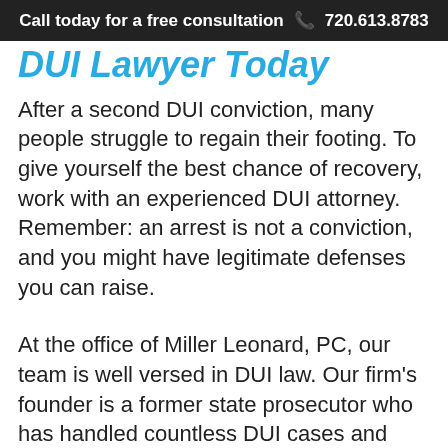Call today for a free consultation  720.613.8783
DUI Lawyer Today
After a second DUI conviction, many people struggle to regain their footing. To give yourself the best chance of recovery, work with an experienced DUI attorney. Remember: an arrest is not a conviction, and you might have legitimate defenses you can raise.
At the office of Miller Leonard, PC, our team is well versed in DUI law. Our firm's founder is a former state prosecutor who has handled countless DUI cases and understands how